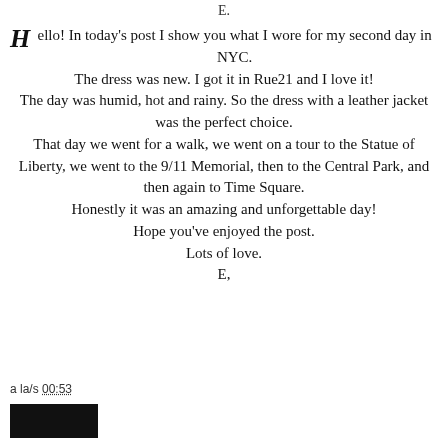E.
Hello! In today's post I show you what I wore for my second day in NYC.
The dress was new. I got it in Rue21 and I love it!
The day was humid, hot and rainy. So the dress with a leather jacket was the perfect choice.
That day we went for a walk, we went on a tour to the Statue of Liberty, we went to the 9/11 Memorial, then to the Central Park, and then again to Time Square.
Honestly it was an amazing and unforgettable day!
Hope you've enjoyed the post.
Lots of love.
E,
a la/s 00:53